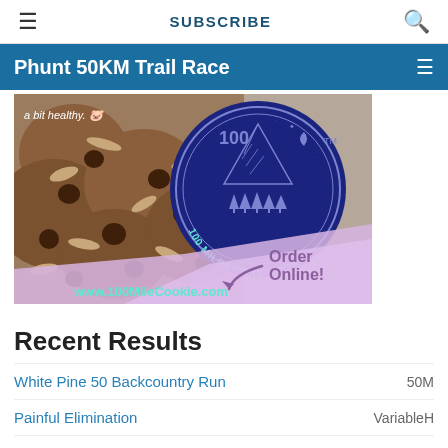≡  SUBSCRIBE  🔍
Phunt 50KM Trail Race
[Figure (photo): Advertisement for 100 Mile Cookie showing chocolate oat cookies with chocolate chips on the left, a circular dark blue logo in the center reading '100 MILES - ONE COOKIE' with a mountain and moon graphic, and a lavender/pink lower section with text 'Order Online!' and URL 'www.100MileCookie.com' in teal text. Top left shows text 'a bit healthy.' with a pig emoji.]
Recent Results
White Pine 50 Backcountry Run  50M
Painful Elimination  VariableH
Tiger Mountain Trail Run  50K